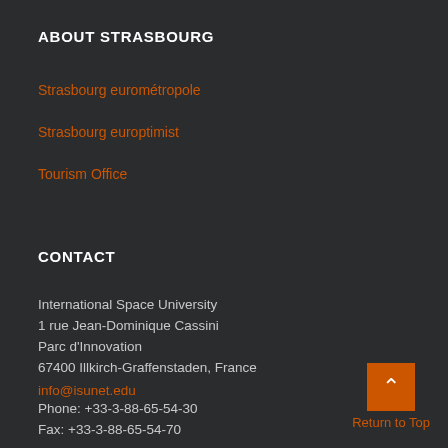ABOUT STRASBOURG
Strasbourg eurométropole
Strasbourg europtimist
Tourism Office
CONTACT
International Space University
1 rue Jean-Dominique Cassini
Parc d'Innovation
67400 Illkirch-Graffenstaden, France
info@isunet.edu
Phone: +33-3-88-65-54-30
Fax: +33-3-88-65-54-70